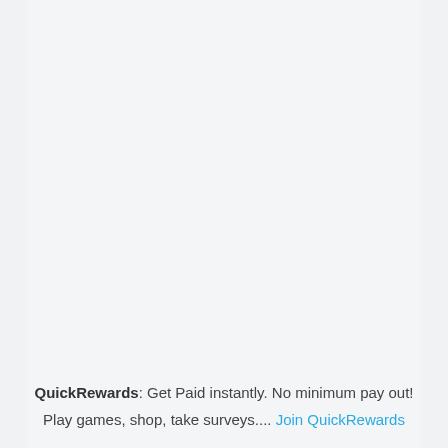QuickRewards: Get Paid instantly. No minimum pay out! Play games, shop, take surveys.... Join QuickRewards